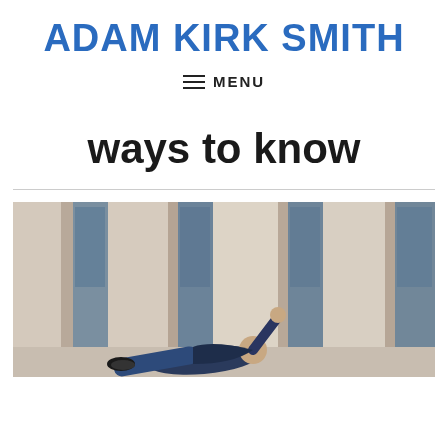ADAM KIRK SMITH
≡ MENU
ways to know
[Figure (photo): A person leaning against large stone or concrete columns of a building, wearing jeans and a dark jacket, photographed from above at an angle.]